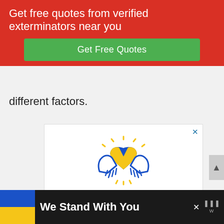Get free quotes from verified exterminators near you
Get Free Quotes
different factors.
[Figure (illustration): Ad Council Ukraine donation advertisement with heart/hands logo, text 'YOU CAN HELP UKRAINIANS IN NEED. Even small monetary donations can make a big difference.' and blue 'DONATE TODAY ->' bar with Ad Council logo]
[Figure (infographic): Bottom banner with Ukrainian flag colors (blue and yellow), text 'We Stand With You', close button, and podcast icon]